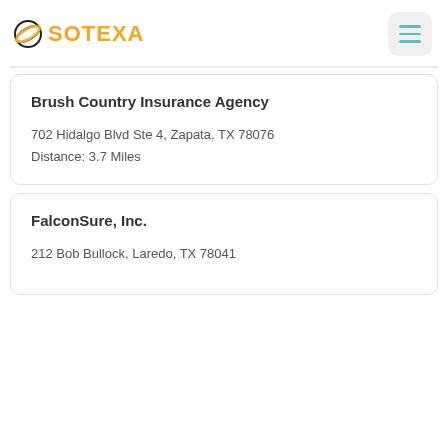SOTEXA
Brush Country Insurance Agency
702 Hidalgo Blvd Ste 4, Zapata, TX 78076
Distance: 3.7 Miles
FalconSure, Inc.
212 Bob Bullock, Laredo, TX 78041